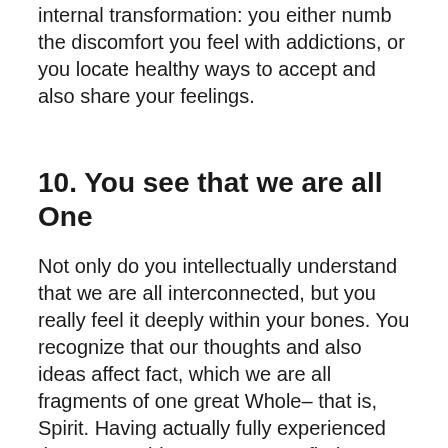internal transformation: you either numb the discomfort you feel with addictions, or you locate healthy ways to accept and also share your feelings.
10. You see that we are all One
Not only do you intellectually understand that we are all interconnected, but you really feel it deeply within your bones. You recognize that our thoughts and also ideas affect fact, which we are all fragments of one great Whole– that is, Spirit. Having actually fully experienced that we are this Oneness, you find tranquility at last. Occasionally this stage can take years or perhaps an entire